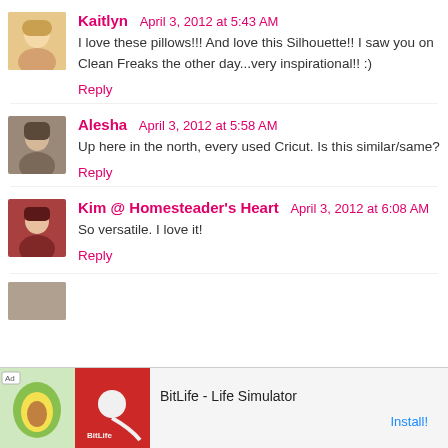Kaitlyn  April 3, 2012 at 5:43 AM
I love these pillows!!! And love this Silhouette!! I saw you on Clean Freaks the other day...very inspirational!! :)
Reply
Alesha  April 3, 2012 at 5:58 AM
Up here in the north, every used Cricut. Is this similar/same?
Reply
Kim @ Homesteader's Heart  April 3, 2012 at 6:08 AM
So versatile. I love it!
Reply
[Figure (screenshot): Advertisement banner for BitLife - Life Simulator app with Ad label, green and red imagery, and Install button]